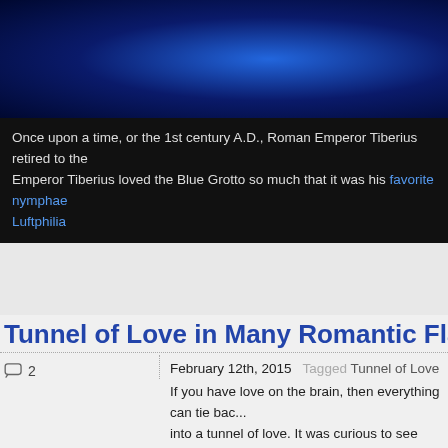[Figure (photo): Blue grotto/water scene with dark blue tones]
Once upon a time, or the 1st century A.D., Roman Emperor Tiberius retired to the... Emperor Tiberius loved the Blue Grotto so much that it was his favorite nymphae... Luftphilia
Tunnel of Love in Many Romantic Flavo...
💬 2   February 12th, 2015   Tagged Tunnel of Love
If you have love on the brain, then everything can tie back into a tunnel of love. It was curious to see places that ac... romantic, let your imagination run wild and let your heart...
[Figure (photo): Green lush tunnel of trees/foliage with bright green leaves]